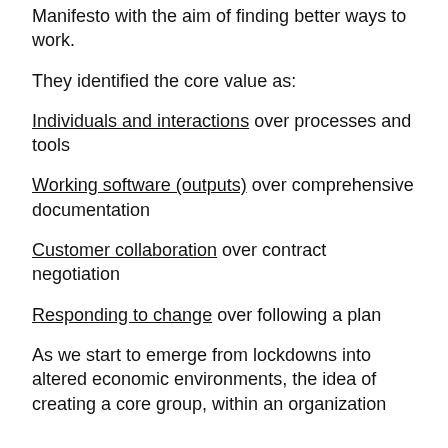Manifesto with the aim of finding better ways to work.
They identified the core value as:
Individuals and interactions over processes and tools
Working software (outputs) over comprehensive documentation
Customer collaboration over contract negotiation
Responding to change over following a plan
As we start to emerge from lockdowns into altered economic environments, the idea of creating a core group, within an organization